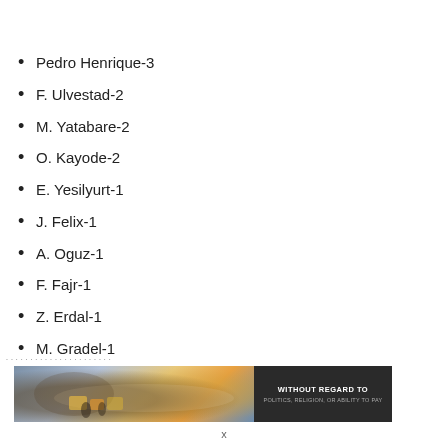Pedro Henrique-3
F. Ulvestad-2
M. Yatabare-2
O. Kayode-2
E. Yesilyurt-1
J. Felix-1
A. Oguz-1
F. Fajr-1
Z. Erdal-1
M. Gradel-1
[Figure (photo): Advertisement banner showing cargo being loaded onto an airplane, with text 'WITHOUT REGARD TO POLITICS, RELIGION, OR ABILITY TO PAY']
x